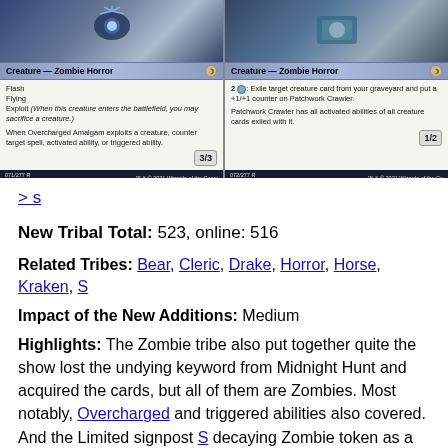[Figure (photo): Two Magic: The Gathering cards side by side. Left card: Overcharged Amalgam, Creature - Zombie Horror 3/3, with Flash, Flying, Exploit keyword, and counter ability. Right card: Patchwork Crawler, Creature - Zombie Horror 1/2, with exiling ability and gaining activated abilities.]
> s
New Tribal Total: 523, online: 516
Related Tribes: Bear, Cleric, Drake, Horror, Horse, Kraken, S
Impact of the New Additions: Medium
Highlights: The Zombie tribe also put together quite the show lost the undying keyword from Midnight Hunt and acquired the cards, but all of them are Zombies. Most notably, Overcharged and triggered abilities also covered. And the Limited signpost S decaying Zombie token as a reward. Other highlights of the x